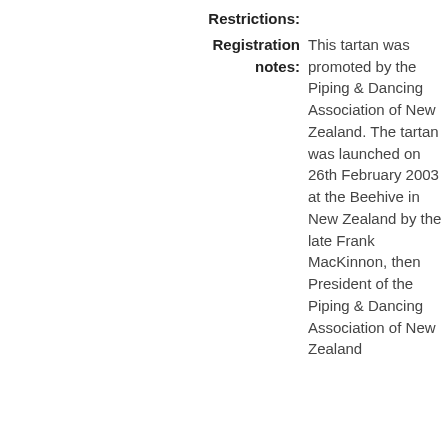Restrictions:
Registration notes: This tartan was promoted by the Piping & Dancing Association of New Zealand. The tartan was launched on 26th February 2003 at the Beehive in New Zealand by the late Frank MacKinnon, then President of the Piping & Dancing Association of New Zealand